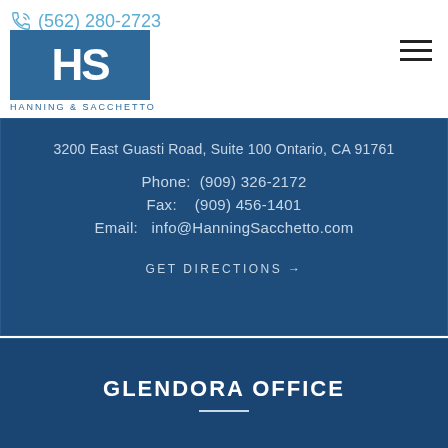(562) 280-2723
[Figure (logo): Hanning & Sacchetto law firm logo with blue HS letters and firm name below]
3200 East Guasti Road, Suite 100 Ontario, CA 91761
Phone:  (909) 326-2172
Fax:    (909) 456-1401
Email:   info@HanningSacchetto.com
GET DIRECTIONS →
GLENDORA OFFICE